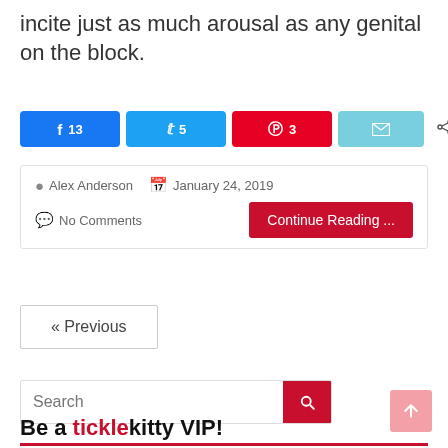incite just as much arousal as any genital on the block.
[Figure (infographic): Social share buttons: Facebook 13, Twitter 5, Pinterest 3, Email (no count), and a total of 21 SHARES]
Alex Anderson   January 24, 2019   No Comments   Continue Reading...
« Previous
Search
Be a ticklekitty VIP!